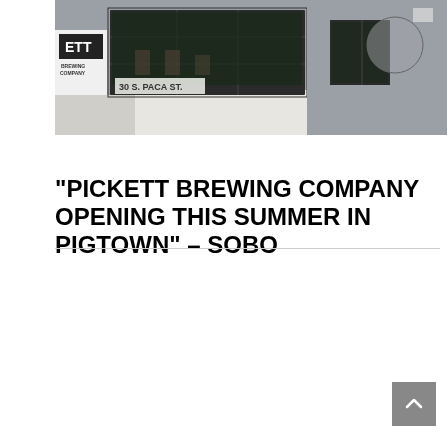[Figure (photo): Exterior photo of Pickett Brewing Company storefront at 30 S. Paca St., showing large glass garage doors on a grey brick building with the brewery's logo and signage visible.]
“PICKETT BREWING COMPANY OPENING THIS SUMMER IN PIGTOWN” – SOBO